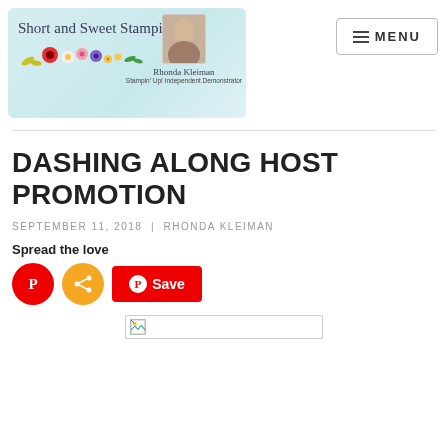[Figure (logo): Short and Sweet Stamping blog logo with cursive text, colorful flowers, and a profile photo of Rhonda Kleiman with text 'Rhonda Kleiman, Stampin' Up! Independent Demonstrator']
[Figure (other): MENU button with hamburger icon lines]
DASHING ALONG HOST PROMOTION
SEPTEMBER 11, 2018 | RHONDA KLEIMAN
Spread the love
[Figure (other): Social sharing buttons: Pinterest circle button (red), Share circle button (orange), and Save button (red rectangle with Pinterest icon)]
[Figure (other): Image placeholder showing a small broken image icon in the top-left corner]